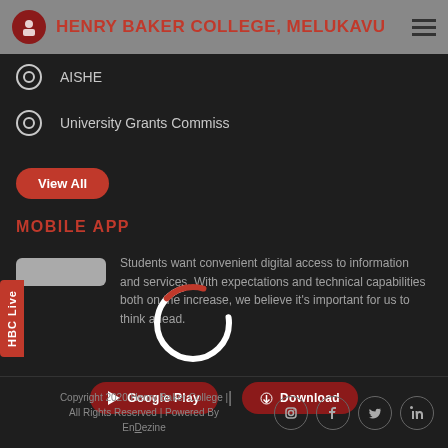HENRY BAKER COLLEGE, MELUKAVU
AISHE
University Grants Commiss
View All
MOBILE APP
[Figure (screenshot): Partial phone/tablet device image placeholder]
Students want convenient digital access to information and services. With expectations and technical capabilities both on the increase, we believe it's important for us to think ahead.
[Figure (other): Loading spinner circle overlay]
Google Play | Download
Copyright 2020 Henry Baker College | All Rights Reserved | Powered By EnDezine